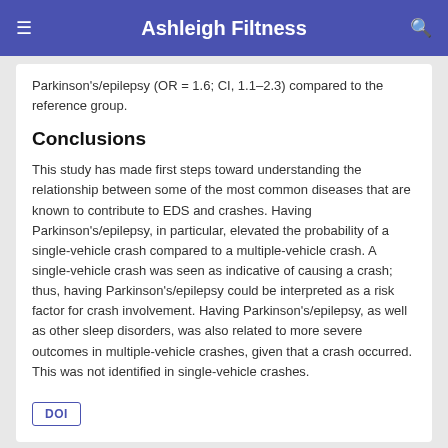Ashleigh Filtness
Parkinson's/epilepsy (OR = 1.6; CI, 1.1–2.3) compared to the reference group.
Conclusions
This study has made first steps toward understanding the relationship between some of the most common diseases that are known to contribute to EDS and crashes. Having Parkinson's/epilepsy, in particular, elevated the probability of a single-vehicle crash compared to a multiple-vehicle crash. A single-vehicle crash was seen as indicative of causing a crash; thus, having Parkinson's/epilepsy could be interpreted as a risk factor for crash involvement. Having Parkinson's/epilepsy, as well as other sleep disorders, was also related to more severe outcomes in multiple-vehicle crashes, given that a crash occurred. This was not identified in single-vehicle crashes.
DOI